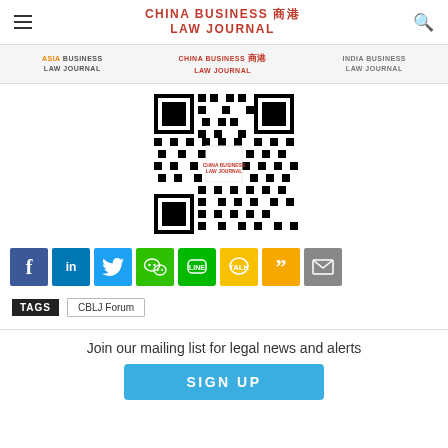CHINA BUSINESS LAW JOURNAL
[Figure (logo): Navigation bar with Asia Business Law Journal, China Business Law Journal (red), and India Business Law Journal logos]
[Figure (other): QR code for China Business Law Journal WeChat]
[Figure (infographic): Social sharing icons row: Facebook, LinkedIn, Twitter, WeChat, Line, KakaoTalk, Quotemark, Email]
TAGS  CBLJ Forum
Join our mailing list for legal news and alerts
SIGN UP